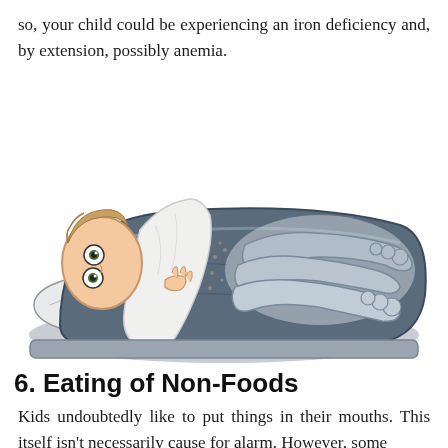so, your child could be experiencing an iron deficiency and, by extension, possibly anemia.
[Figure (illustration): Cartoon illustration of a wide-eyed child peeking over a dark blue blanket in bed, with wavy ghost-like shapes (restless legs symptom) floating above the blanket.]
6. Eating of Non-Foods
Kids undoubtedly like to put things in their mouths. This itself isn't necessarily cause for alarm. However, some